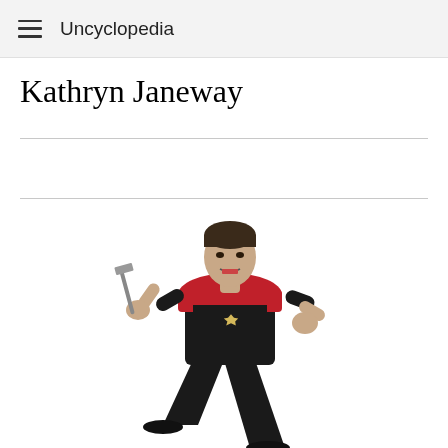Uncyclopedia
Kathryn Janeway
[Figure (photo): A man in a Star Trek Voyager-style uniform (black and red) in a fighting stance, holding what appears to be a spatula, with an aggressive expression on his face.]